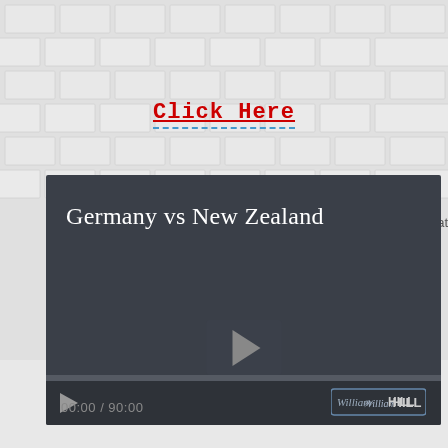[Figure (screenshot): Brick/tile mosaic background pattern in light gray]
Click Here
[Figure (screenshot): Video player showing 'Germany vs New Zealand' with dark background, play button in center, progress bar, time 00:00 / 90:00, and William Hill logo in bottom right corner]
Wat